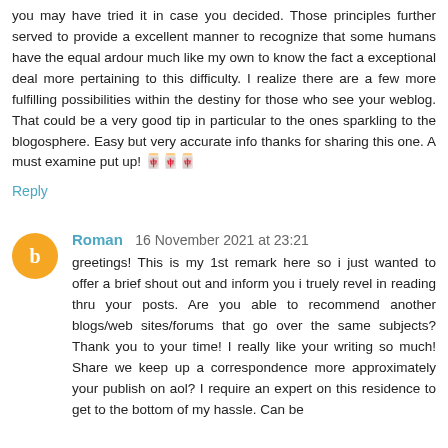you may have tried it in case you decided. Those principles further served to provide a excellent manner to recognize that some humans have the equal ardour much like my own to know the fact a exceptional deal more pertaining to this difficulty. I realize there are a few more fulfilling possibilities within the destiny for those who see your weblog. That could be a very good tip in particular to the ones sparkling to the blogosphere. Easy but very accurate info thanks for sharing this one. A must examine put up! 🀄
Reply
Roman  16 November 2021 at 23:21
greetings! This is my 1st remark here so i just wanted to offer a brief shout out and inform you i truely revel in reading thru your posts. Are you able to recommend another blogs/web sites/forums that go over the same subjects? Thank you to your time! I really like your writing so much! Share we keep up a correspondence more approximately your publish on aol? I require an expert on this residence to get to the bottom of my hassle. Can be